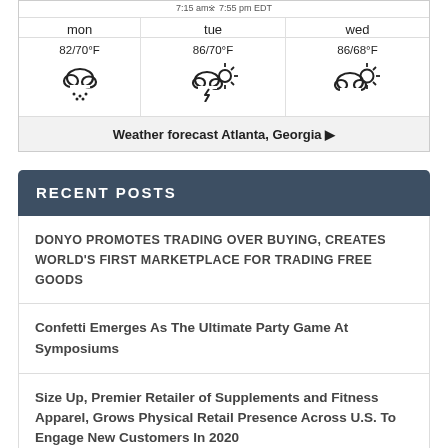| mon | tue | wed |
| --- | --- | --- |
| 82/70°F | 86/70°F | 86/68°F |
| [snow cloud icon] | [thunder sun icon] | [partly cloudy sun icon] |
Weather forecast Atlanta, Georgia ▶
RECENT POSTS
DONYO PROMOTES TRADING OVER BUYING, CREATES WORLD'S FIRST MARKETPLACE FOR TRADING FREE GOODS
Confetti Emerges As The Ultimate Party Game At Symposiums
Size Up, Premier Retailer of Supplements and Fitness Apparel, Grows Physical Retail Presence Across U.S. To Engage New Customers In 2020